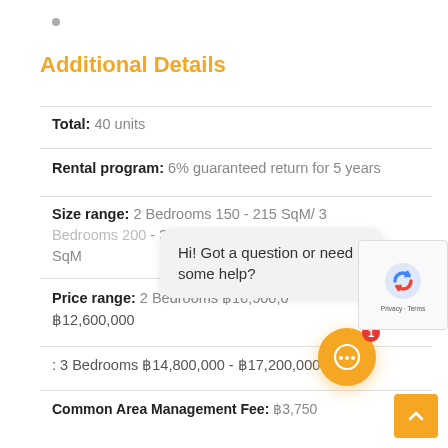•
Additional Details
Total: 40 units
Rental program: 6% guaranteed return for 5 years
Size range: 2 Bedrooms 150 - 215 SqM/ 3 Bedrooms 200 ... - 350 SqM
Price range: 2 Bedrooms ฿10,000,0... ฿12,600,000
: 3 Bedrooms ฿14,800,000 - ฿17,200,000
Common Area Management Fee: ฿3,750
[Figure (other): Chat tooltip bubble with text: Hi! Got a question or need some help?]
[Figure (other): Orange chat button with notification badge showing 1]
[Figure (other): reCAPTCHA widget with Privacy and Terms links]
[Figure (other): Orange back-to-top arrow button]